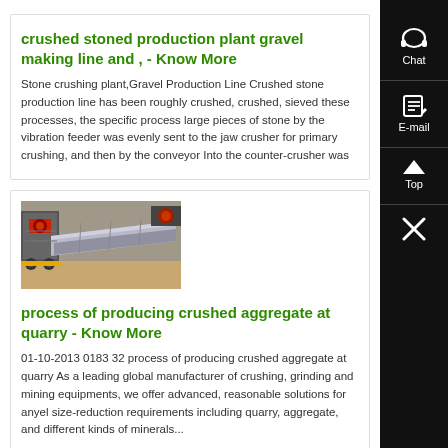crushed stoned production plant gravel making line and , - Know More
Stone crushing plant,Gravel Production Line Crushed stone production line has been roughly crushed, crushed, sieved these processes, the specific process large pieces of stone by the vibration feeder was evenly sent to the jaw crusher for primary crushing, and then by the conveyor Into the counter-crusher was
[Figure (photo): Photo of industrial vibration feeder / stone crushing equipment with metal conveyor trough and crusher machinery in background]
process of producing crushed aggregate at quarry - Know More
01-10-2013 0183 32 process of producing crushed aggregate at quarry As a leading global manufacturer of crushing, grinding and mining equipments, we offer advanced, reasonable solutions for anyel size-reduction requirements including quarry, aggregate, and different kinds of minerals...